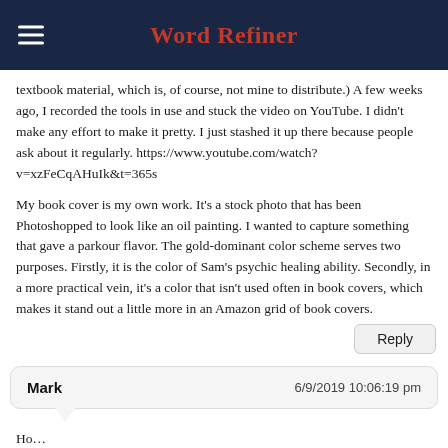Word Refiner
textbook material, which is, of course, not mine to distribute.) A few weeks ago, I recorded the tools in use and stuck the video on YouTube. I didn't make any effort to make it pretty. I just stashed it up there because people ask about it regularly. https://www.youtube.com/watch?v=xzFeCqAHuIk&t=365s
My book cover is my own work. It's a stock photo that has been Photoshopped to look like an oil painting. I wanted to capture something that gave a parkour flavor. The gold-dominant color scheme serves two purposes. Firstly, it is the color of Sam's psychic healing ability. Secondly, in a more practical vein, it's a color that isn't used often in book covers, which makes it stand out a little more in an Amazon grid of book covers.
Reply
Mark
6/9/2019 10:06:19 pm